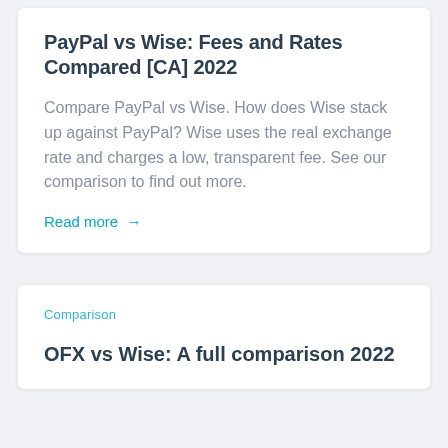PayPal vs Wise: Fees and Rates Compared [CA] 2022
Compare PayPal vs Wise. How does Wise stack up against PayPal? Wise uses the real exchange rate and charges a low, transparent fee. See our comparison to find out more.
Read more →
Comparison
OFX vs Wise: A full comparison 2022